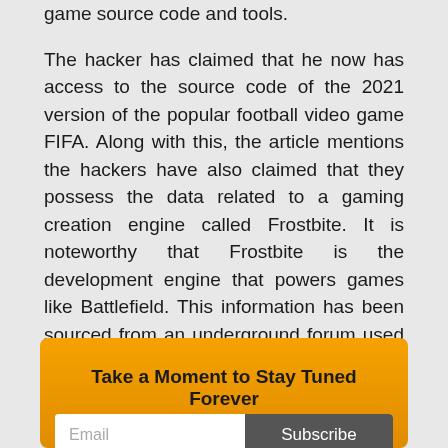game source code and tools.
The hacker has claimed that he now has access to the source code of the 2021 version of the popular football video game FIFA. Along with this, the article mentions the hackers have also claimed that they possess the data related to a gaming creation engine called Frostbite. It is noteworthy that Frostbite is the development engine that powers games like Battlefield. This information has been sourced from an underground forum used by hackers.
Take a Moment to Stay Tuned Forever
Subscribe to get weekly cyber security updates!